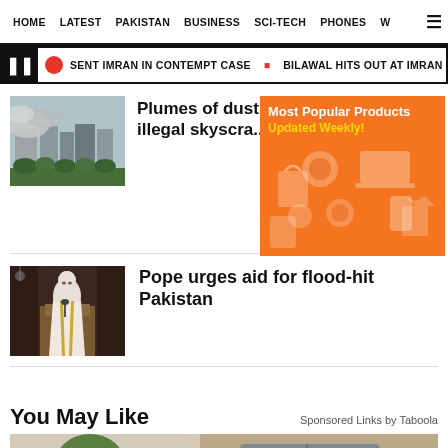HOME  LATEST  PAKISTAN  BUSINESS  SCI-TECH  PHONES  W
SENT IMRAN IN CONTEMPT CASE  BILAWAL HITS OUT AT IMRAN FOR HOLDING PU
Plumes of dust as India demolishes illegal skyscra...
[Figure (photo): Plumes of dust from building demolition, skyline visible]
[Figure (infographic): Orange advertisement: Most Popular Products, Updated Weekly! with product icons on orange background]
Pope urges aid for flood-hit Pakistan
[Figure (photo): Pope Francis speaking at podium in ceremonial robes]
You May Like
Sponsored Links by Taboola
[Figure (photo): Car parked in driveway near house with green bushes]